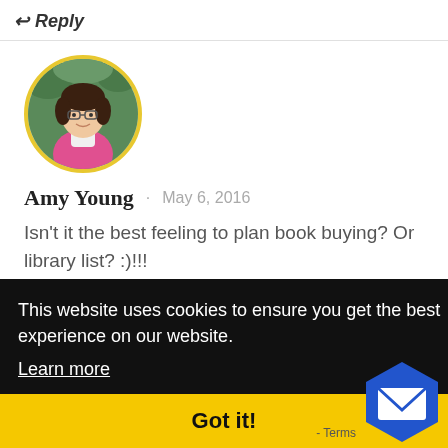← Reply
[Figure (photo): Circular avatar photo of Amy Young, a woman with glasses and a pink jacket, with a yellow border]
Amy Young · May 6, 2016
Isn't it the best feeling to plan book buying? Or library list? :)!!!
This website uses cookies to ensure you get the best experience on our website.
Learn more
Got it!
[Figure (logo): Blue hexagonal email icon with envelope symbol]